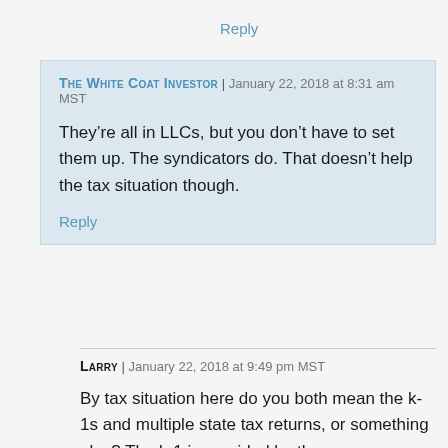Reply
The White Coat Investor | January 22, 2018 at 8:31 am MST
They’re all in LLCs, but you don’t have to set them up. The syndicators do. That doesn’t help the tax situation though.
Reply
Larry | January 22, 2018 at 9:49 pm MST
By tax situation here do you both mean the k-1s and multiple state tax returns, or something else? The k-1 is provided by the